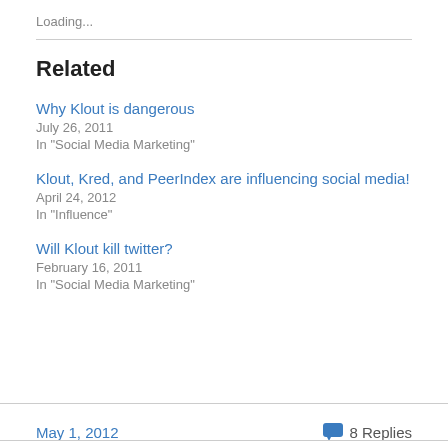Loading...
Related
Why Klout is dangerous
July 26, 2011
In "Social Media Marketing"
Klout, Kred, and PeerIndex are influencing social media!
April 24, 2012
In "Influence"
Will Klout kill twitter?
February 16, 2011
In "Social Media Marketing"
May 1, 2012   8 Replies